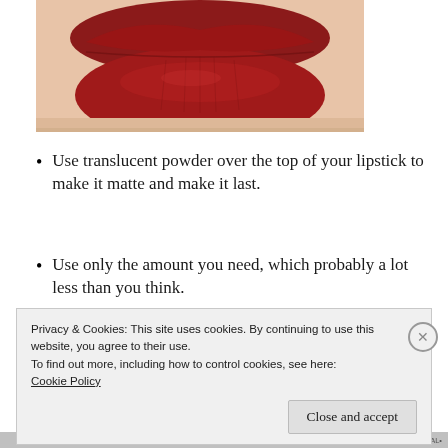[Figure (photo): Close-up photo of lips with deep red/dark red matte lipstick applied, pale skin chin visible below]
Use translucent powder over the top of your lipstick to make it matte and make it last.
Use only the amount you need, which probably a lot less than you think.
Privacy & Cookies: This site uses cookies. By continuing to use this website, you agree to their use.
To find out more, including how to control cookies, see here: Cookie Policy
Close and accept